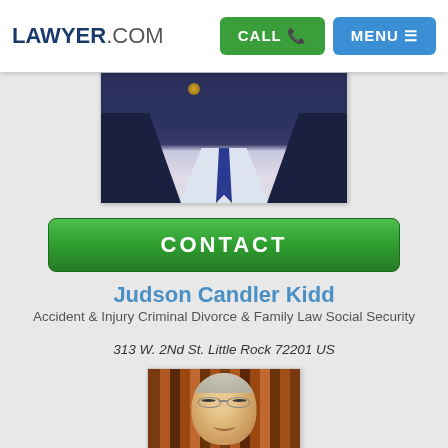LAWYER.COM | CALL | MENU
[Figure (photo): Partial photo of a man in a dark suit with a blue tie, showing from the chest up]
CONTACT
Judson Candler Kidd
Accident & Injury Criminal Divorce & Family Law Social Security
313 W. 2Nd St. Little Rock 72201 US
[Figure (photo): Photo of an older man with gray hair and glasses, smiling in front of a background of law books]